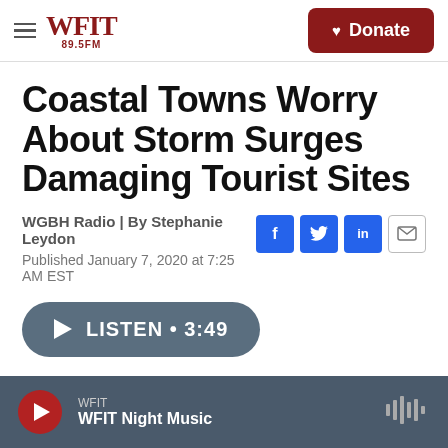WFIT 89.5FM | Donate
Coastal Towns Worry About Storm Surges Damaging Tourist Sites
WGBH Radio | By Stephanie Leydon
Published January 7, 2020 at 7:25 AM EST
LISTEN • 3:49
WFIT | WFIT Night Music